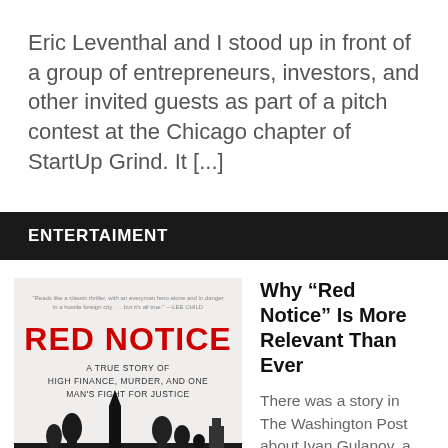Eric Leventhal and I stood up in front of a group of entrepreneurs, investors, and other invited guests as part of a pitch contest at the Chicago chapter of StartUp Grind. It [...]
ENTERTAIMENT
[Figure (photo): Book cover of 'Red Notice: A True Story of High Finance, Murder, and One Man's Fight for Justice' with red title text and silhouette of Moscow buildings]
Why “Red Notice” Is More Relevant Than Ever
There was a story in The Washington Post about Ivan Gulanov, a Russian investigative reporter on alleged drug possession